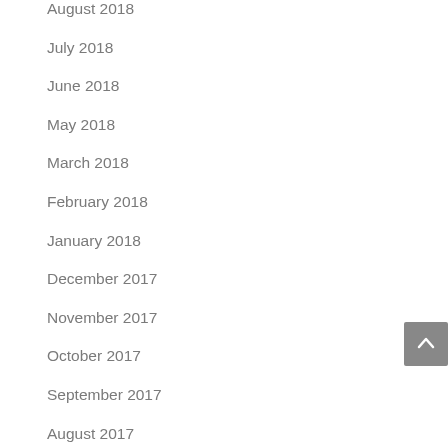August 2018
July 2018
June 2018
May 2018
March 2018
February 2018
January 2018
December 2017
November 2017
October 2017
September 2017
August 2017
July 2017
May 2017
April 2017